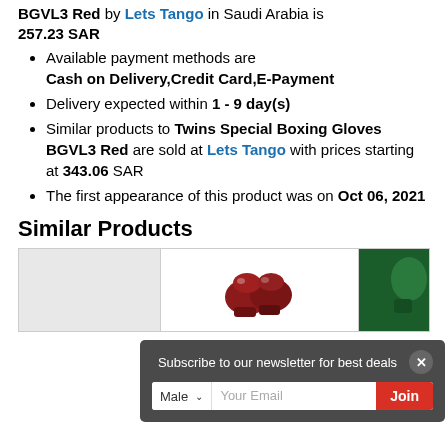BGVL3 Red by Lets Tango in Saudi Arabia is 257.23 SAR
Available payment methods are Cash on Delivery,Credit Card,E-Payment
Delivery expected within 1 - 9 day(s)
Similar products to Twins Special Boxing Gloves BGVL3 Red are sold at Lets Tango with prices starting at 343.06 SAR
The first appearance of this product was on Oct 06, 2021
Similar Products
[Figure (photo): Similar products row showing boxing gloves images including red boxing gloves in the center and a partial green product on the right]
[Figure (infographic): Newsletter subscription overlay popup with dark gray background, text 'Subscribe to our newsletter for best deals', a close button, gender dropdown (Male), email input field, and red Join button]